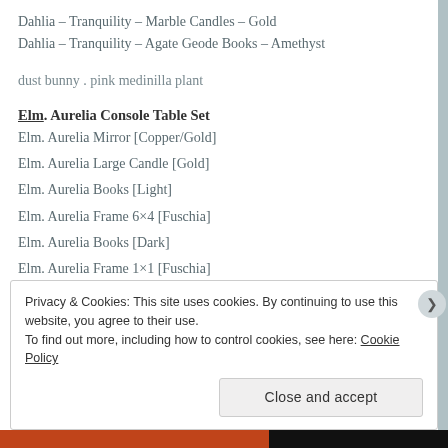Dahlia – Tranquility – Marble Candles – Gold
Dahlia – Tranquility – Agate Geode Books – Amethyst
dust bunny . pink medinilla plant
Elm. Aurelia Console Table Set
Elm. Aurelia Mirror [Copper/Gold]
Elm. Aurelia Large Candle [Gold]
Elm. Aurelia Books [Light]
Elm. Aurelia Frame 6×4 [Fuschia]
Elm. Aurelia Books [Dark]
Elm. Aurelia Frame 1×1 [Fuschia]
Privacy & Cookies: This site uses cookies. By continuing to use this website, you agree to their use.
To find out more, including how to control cookies, see here: Cookie Policy